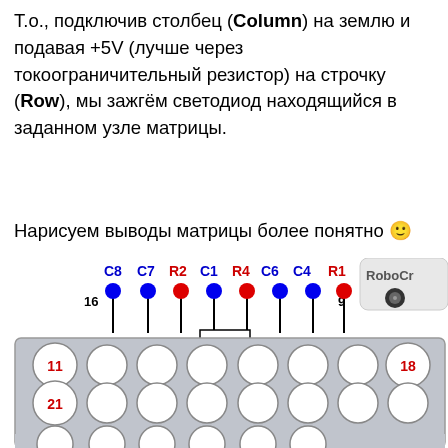Т.о., подключив столбец (Column) на землю и подавая +5V (лучше через токоограничительный резистор) на строчку (Row), мы зажгём светодиод находящийся в заданном узле матрицы.
Нарисуем выводы матрицы более понятно 🙂
[Figure (engineering-diagram): LED matrix pin diagram showing pins 16 to 9 labeled C8 C7 R2 C1 R4 C6 C4 R1 with blue dots for column pins and red dots for row pins, connected to a gray LED matrix board showing circles representing LEDs, with pin numbers 11, 21, 18 visible and RoboCraft logo.]